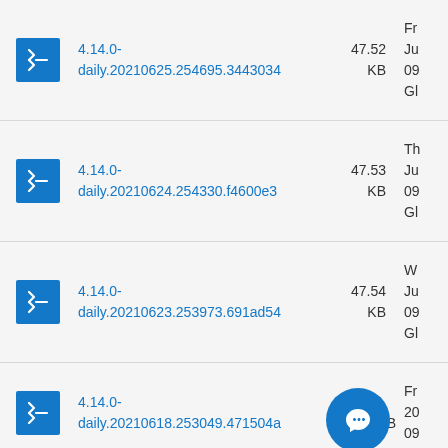4.14.0-daily.20210625.254695.3443034 47.52 KB Fr Ju 09 Gl
4.14.0-daily.20210624.254330.f4600e3 47.53 KB Th Ju 09 Gl
4.14.0-daily.20210623.253973.691ad54 47.54 KB W Ju 09 Gl
4.14.0-daily.20210618.253049.471504a KB Fr 20 09